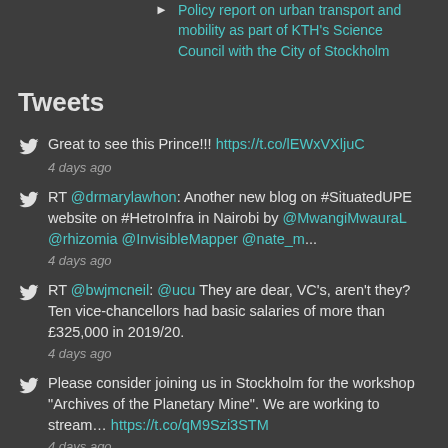Policy report on urban transport and mobility as part of KTH's Science Council with the City of Stockholm
Tweets
Great to see this Prince!!! https://t.co/lEWxVXljuC
4 days ago
RT @drmarylawhon: Another new blog on #SituatedUPE website on #HetroInfra in Nairobi by @MwangiMwauraL @rhizomia @InvisibleMapper @nate_m...
4 days ago
RT @bwjmcneil: @ucu They are dear, VC's, aren't they? Ten vice-chancellors had basic salaries of more than £325,000 in 2019/20.
4 days ago
Please consider joining us in Stockholm for the workshop "Archives of the Planetary Mine". We are working to stream... https://t.co/qM9Szi3STM
4 days ago